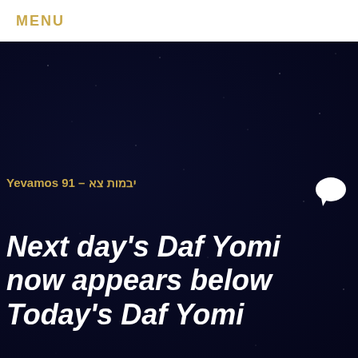MENU
Yevamos 91 – יבמות צא
Next day's Daf Yomi now appears below Today's Daf Yomi